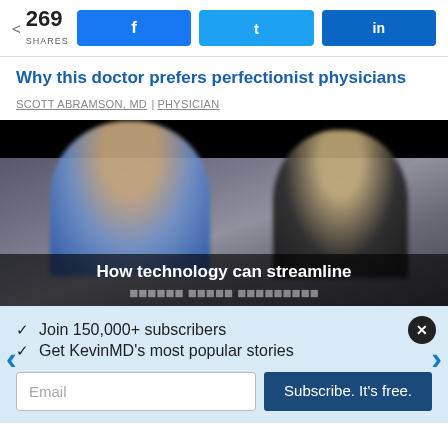269 SHARES | Facebook | Twitter | LinkedIn
Why this doctor prefers perfectionist physicians
SCOTT ABRAMSON, MD | PHYSICIAN
[Figure (photo): Video thumbnail showing two people seated, with caption text 'How technology can streamline [indians health care processes]']
✓  Join 150,000+ subscribers
✓  Get KevinMD's most popular stories
Email | Subscribe. It's free.